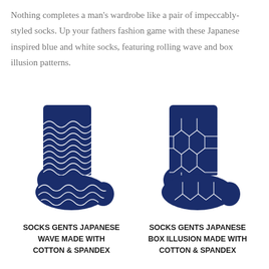Nothing completes a man's wardrobe like a pair of impeccably-styled socks. Up your fathers fashion game with these Japanese inspired blue and white socks, featuring rolling wave and box illusion patterns.
[Figure (photo): Two navy blue and white Japanese-patterned dress socks side by side. Left sock has a rolling wave (seigaiha) pattern. Right sock has a box illusion geometric pattern.]
SOCKS GENTS JAPANESE WAVE MADE WITH COTTON & SPANDEX
SOCKS GENTS JAPANESE BOX ILLUSION MADE WITH COTTON & SPANDEX